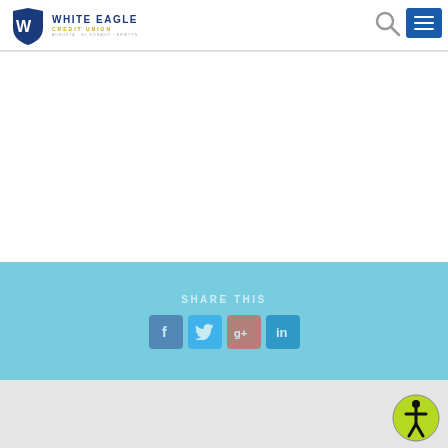[Figure (logo): White Eagle Credit Union logo with W shield emblem and tagline]
[Figure (infographic): Search icon (magnifying glass) and hamburger menu button in header]
[Figure (infographic): Share This section with Facebook, Twitter, Google+, and LinkedIn social media icons on light blue background]
[Figure (infographic): Accessibility (wheelchair) icon button on yellow-green circle in bottom right corner]